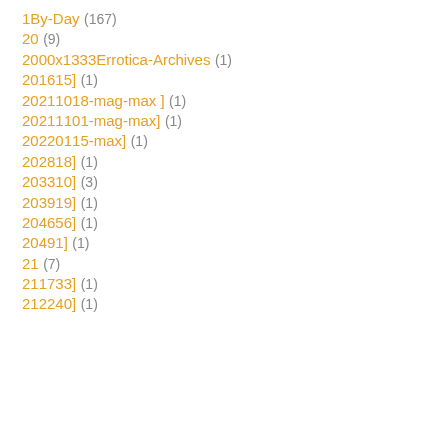1By-Day (167)
20 (9)
2000x1333Errotica-Archives (1)
201615] (1)
20211018-mag-max ] (1)
20211101-mag-max] (1)
20220115-max] (1)
202818] (1)
203310] (3)
203919] (1)
204656] (1)
20491] (1)
21 (7)
211733] (1)
212240] (1)